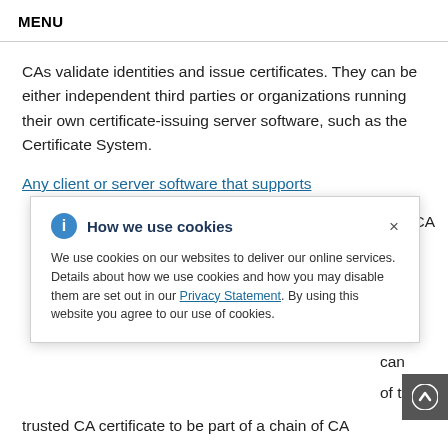MENU
CAs validate identities and issue certificates. They can be either independent third parties or organizations running their own certificate-issuing server software, such as the Certificate System.
Any client or server software that supports
[Figure (screenshot): Cookie consent popup overlay with info icon, title 'How we use cookies', close X button, body text about cookie usage, and a Privacy Statement link.]
trusted CA certificate to be part of a chain of CA